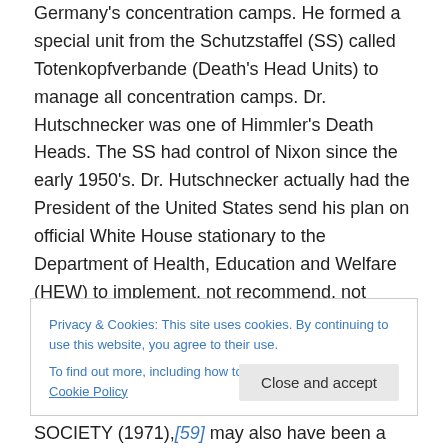Germany's concentration camps. He formed a special unit from the Schutzstaffel (SS) called Totenkopfverbande (Death's Head Units) to manage all concentration camps. Dr. Hutschnecker was one of Himmler's Death Heads. The SS had control of Nixon since the early 1950's. Dr. Hutschnecker actually had the President of the United States send his plan on official White House stationary to the Department of Health, Education and Welfare (HEW) to implement, not recommend, not study, not evaluate, but implement.
Privacy & Cookies: This site uses cookies. By continuing to use this website, you agree to their use.
To find out more, including how to control cookies, see here: Cookie Policy
Close and accept
SOCIETY (1971),[59] may also have been a pretext to